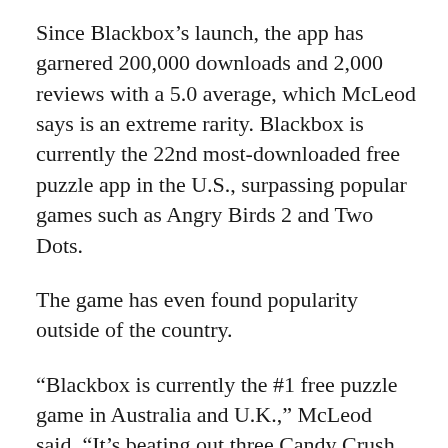Since Blackbox's launch, the app has garnered 200,000 downloads and 2,000 reviews with a 5.0 average, which McLeod says is an extreme rarity. Blackbox is currently the 22nd most-downloaded free puzzle app in the U.S., surpassing popular games such as Angry Birds 2 and Two Dots.
The game has even found popularity outside of the country.
“Blackbox is currently the #1 free puzzle game in Australia and U.K.,” McLeod said. “It’s beating out three Candy Crush titles.”